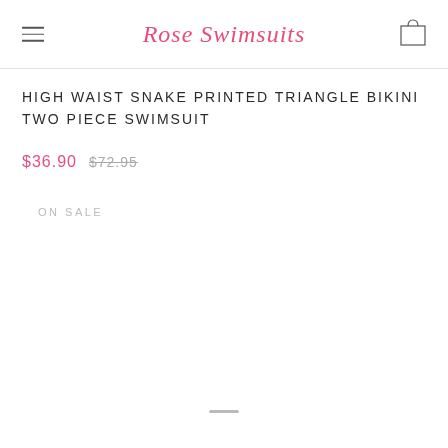Rose Swimsuits
HIGH WAIST SNAKE PRINTED TRIANGLE BIKINI TWO PIECE SWIMSUIT
$36.90  $72.95
ON SALE